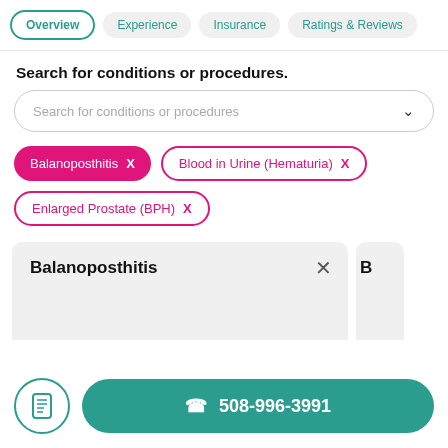Overview | Experience | Insurance | Ratings & Reviews
Search for conditions or procedures.
Search for conditions or procedures [search box with dropdown]
Balanoposthitis X
Blood in Urine (Hematuria) X
Enlarged Prostate (BPH) X
Balanoposthitis
508-996-3991